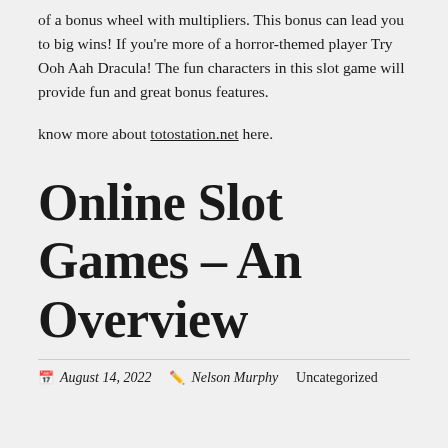of a bonus wheel with multipliers. This bonus can lead you to big wins! If you're more of a horror-themed player Try Ooh Aah Dracula! The fun characters in this slot game will provide fun and great bonus features.
know more about totostation.net here.
Online Slot Games – An Overview
August 14, 2022   Nelson Murphy   Uncategorized